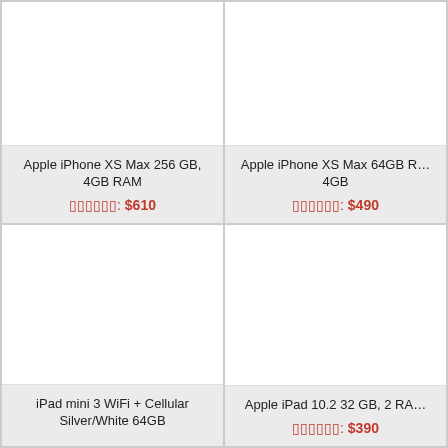Apple iPhone XS Max 256 GB, 4GB RAM
Price: $610
Apple iPhone XS Max 64GB R... 4GB
Price: $490
iPad mini 3 WiFi + Cellular Silver/White 64GB
Apple iPad 10.2 32 GB, 2 RA...
Price: $390